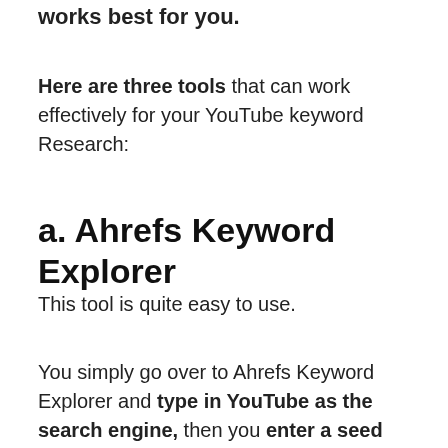works best for you.
Here are three tools that can work effectively for your YouTube keyword Research:
a. Ahrefs Keyword Explorer
This tool is quite easy to use.
You simply go over to Ahrefs Keyword Explorer and type in YouTube as the search engine, then you enter a seed keyword.
[Figure (screenshot): Video overlay showing 'No compatible source was found for this media.' message with Hindi text and keyword research graphic in background, with a close (X) button.]